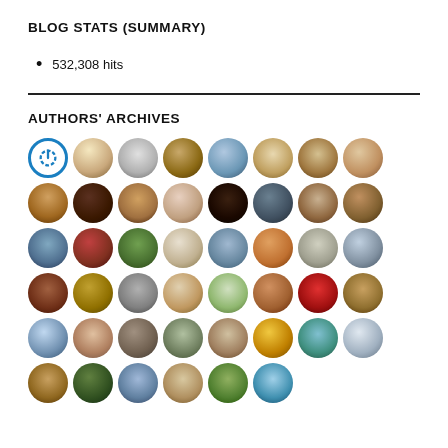BLOG STATS (SUMMARY)
532,308 hits
AUTHORS' ARCHIVES
[Figure (infographic): Grid of 46 circular author avatar icons representing authors' archives on a blog]